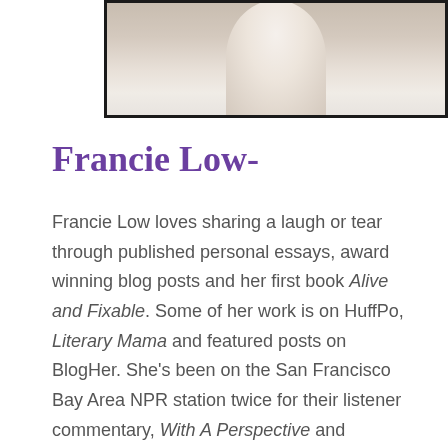[Figure (photo): Portrait photo of Francie Low, showing a person in white clothing against a neutral background, cropped to show partial figure]
Francie Low-
Francie Low loves sharing a laugh or tear through published personal essays, award winning blog posts and her first book Alive and Fixable. Some of her work is on HuffPo, Literary Mama and featured posts on BlogHer. She's been on the San Francisco Bay Area NPR station twice for their listener commentary, With A Perspective and performed in Listen To Your Mother, a